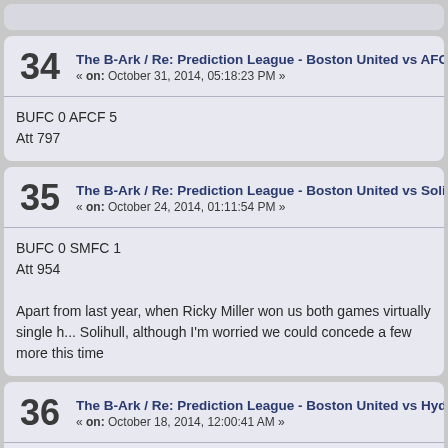34 The B-Ark / Re: Prediction League - Boston United vs AFC Fyl... « on: October 31, 2014, 05:18:23 PM »
BUFC 0 AFCF 5
Att 797
35 The B-Ark / Re: Prediction League - Boston United vs Solihull « on: October 24, 2014, 01:11:54 PM »
BUFC 0 SMFC 1
Att 954
Apart from last year, when Ricky Miller won us both games virtually single h... Solihull, although I'm worried we could concede a few more this time
36 The B-Ark / Re: Prediction League - Boston United vs Hyde « on: October 18, 2014, 12:00:41 AM »
BUFC 3 HFC 2
Att 836